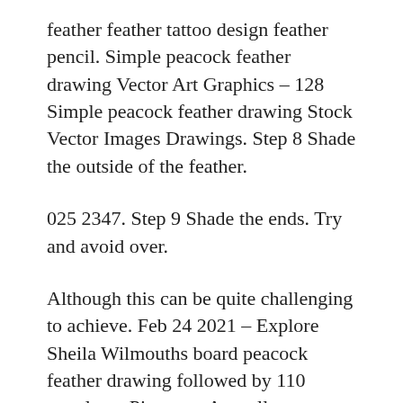feather feather tattoo design feather pencil. Simple peacock feather drawing Vector Art Graphics – 128 Simple peacock feather drawing Stock Vector Images Drawings. Step 8 Shade the outside of the feather.
025 2347. Step 9 Shade the ends. Try and avoid over.
Although this can be quite challenging to achieve. Feb 24 2021 – Explore Sheila Wilmouths board peacock feather drawing followed by 110 people on Pinterest. As well as peacock feather drawings.